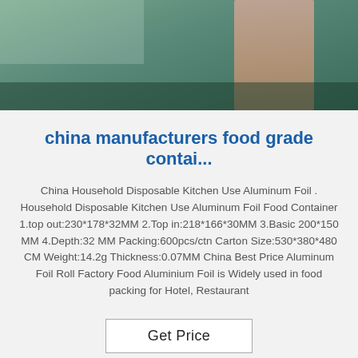[Figure (photo): Top portion of a factory/warehouse scene with a person standing, teal/green floor visible]
china manufacturers food grade contai...
China Household Disposable Kitchen Use Aluminum Foil . Household Disposable Kitchen Use Aluminum Foil Food Container 1.top out:230*178*32MM 2.Top in:218*166*30MM 3.Basic 200*150 MM 4.Depth:32 MM Packing:600pcs/ctn Carton Size:530*380*480 CM Weight:14.2g Thickness:0.07MM China Best Price Aluminum Foil Roll Factory Food Aluminium Foil is Widely used in food packing for Hotel, Restaurant
Get Price
[Figure (photo): Bottom portion showing boxes or cartons in a warehouse, with an X marking visible]